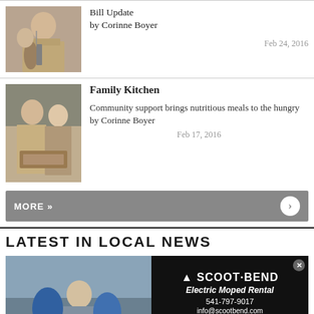[Figure (photo): Man in suit speaking at microphone, older person visible in background]
Bill Update
by Corinne Boyer
Feb 24, 2016
[Figure (photo): Two people in aprons in a kitchen holding food items]
Family Kitchen
Community support brings nutritious meals to the hungry
by Corinne Boyer
Feb 17, 2016
MORE »
LATEST IN LOCAL NEWS
[Figure (photo): Person with electric mopeds/scooters outdoors]
[Figure (advertisement): Scoot Bend Electric Moped Rental advertisement. Phone: 541-797-9017, info@scootbend.com, scootbend.com]